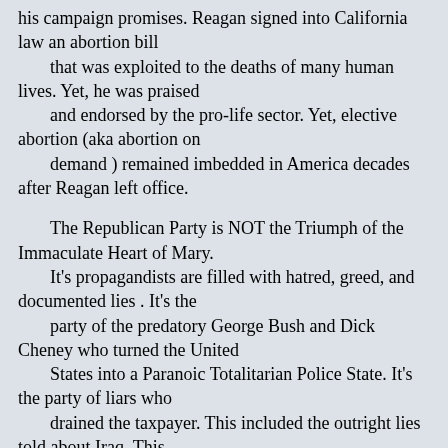his campaign promises. Reagan signed into California law an abortion bill that was exploited to the deaths of many human lives. Yet, he was praised and endorsed by the pro-life sector. Yet, elective abortion (aka abortion on demand ) remained imbedded in America decades after Reagan left office.

The Republican Party is NOT the Triumph of the Immaculate Heart of Mary. It's propagandists are filled with hatred, greed, and documented lies . It's the party of the predatory George Bush and Dick Cheney who turned the United States into a Paranoic Totalitarian Police State. It's the party of liars who drained the taxpayer. This included the outright lies told about Iraq. This involved the farcical presentation of Colin Powell and the wreckless en- dangerment of all persons associated with former CIA agent Vl...